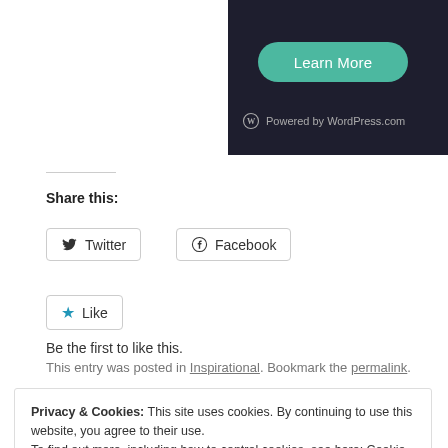[Figure (screenshot): Dark banner with teal 'Learn More' rounded button and WordPress.com logo at bottom]
Share this:
[Figure (screenshot): Twitter share button with Twitter bird icon]
[Figure (screenshot): Facebook share button with Facebook circle icon]
[Figure (screenshot): Like button with blue star icon]
Be the first to like this.
This entry was posted in Inspirational. Bookmark the permalink.
Privacy & Cookies: This site uses cookies. By continuing to use this website, you agree to their use.
To find out more, including how to control cookies, see here: Cookie Policy
Close and accept